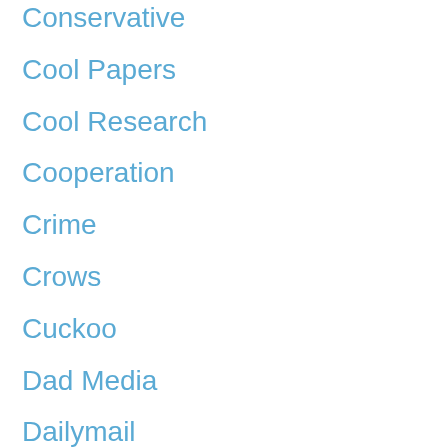Conservative
Cool Papers
Cool Research
Cooperation
Crime
Crows
Cuckoo
Dad Media
Dailymail
Dalai Lama
Darting
Darwin
Darwin's Finches
Deception
Deception Africa
Decision Making
Deer
DES
Dieter Lukas
Disney
Diving